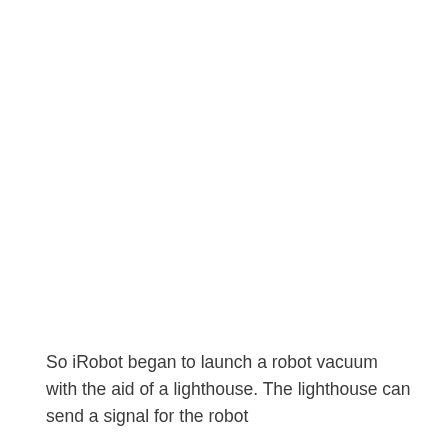So iRobot began to launch a robot vacuum with the aid of a lighthouse. The lighthouse can send a signal for the robot